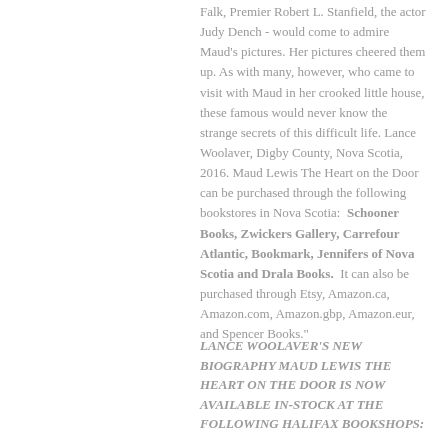Falk, Premier Robert L. Stanfield, the actor Judy Dench - would come to admire Maud's pictures. Her pictures cheered them up. As with many, however, who came to visit with Maud in her crooked little house, these famous would never know the strange secrets of this difficult life. Lance Woolaver, Digby County, Nova Scotia, 2016. Maud Lewis The Heart on the Door can be purchased through the following bookstores in Nova Scotia:  Schooner Books, Zwickers Gallery, Carrefour Atlantic, Bookmark, Jennifers of Nova Scotia and Drala Books.  It can also be purchased through Etsy, Amazon.ca, Amazon.com, Amazon.gbp, Amazon.eur, and Spencer Books."
LANCE WOOLAVER'S NEW BIOGRAPHY MAUD LEWIS THE HEART ON THE DOOR IS NOW AVAILABLE IN-STOCK AT THE FOLLOWING HALIFAX BOOKSHOPS: